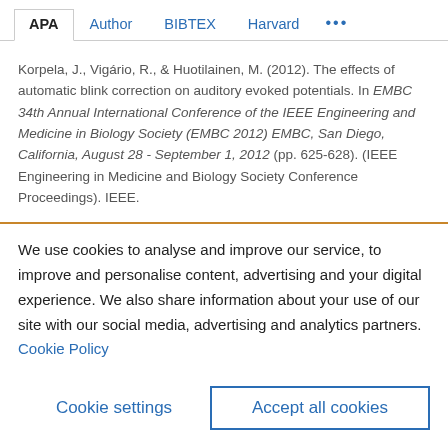APA | Author | BIBTEX | Harvard | ...
Korpela, J., Vigário, R., & Huotilainen, M. (2012). The effects of automatic blink correction on auditory evoked potentials. In EMBC 34th Annual International Conference of the IEEE Engineering and Medicine in Biology Society (EMBC 2012) EMBC, San Diego, California, August 28 - September 1, 2012 (pp. 625-628). (IEEE Engineering in Medicine and Biology Society Conference Proceedings). IEEE.
We use cookies to analyse and improve our service, to improve and personalise content, advertising and your digital experience. We also share information about your use of our site with our social media, advertising and analytics partners.  Cookie Policy
Cookie settings
Accept all cookies